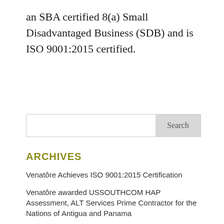an SBA certified 8(a) Small Disadvantaged Business (SDB) and is ISO 9001:2015 certified.
[Figure (other): Search input box with Search button]
ARCHIVES
Venatôre Achieves ISO 9001:2015 Certification
Venatôre awarded USSOUTHCOM HAP Assessment, ALT Services Prime Contractor for the Nations of Antigua and Panama
Venatôre Awarded EUCOM, AFRICOM, and CJTF-HOA